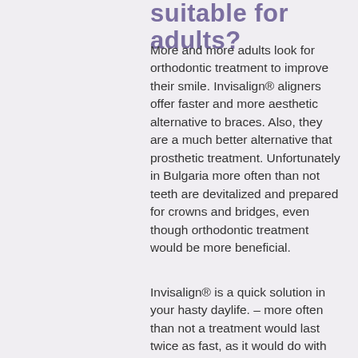suitable for adults?
More and more adults look for orthodontic treatment to improve their smile. Invisalign® aligners offer faster and more aesthetic alternative to braces. Also, they are a much better alternative that prosthetic treatment. Unfortunately in Bulgaria more often than not teeth are devitalized and prepared for crowns and bridges, even though orthodontic treatment would be more beneficial.
Invisalign® is a quick solution in your hasty daylife. – more often than not a treatment would last twice as fast, as it would do with braces. The number of clinical visits